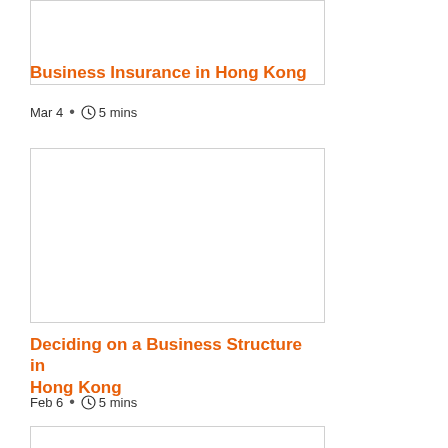[Figure (photo): Partial image placeholder for Business Insurance in Hong Kong article]
Business Insurance in Hong Kong
Mar 4  •  5 mins
[Figure (photo): Image placeholder for Deciding on a Business Structure in Hong Kong article]
Deciding on a Business Structure in Hong Kong
Feb 6  •  5 mins
[Figure (photo): Partial image placeholder for third article]